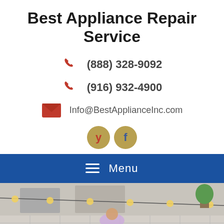Best Appliance Repair Service
(888) 328-9092
(916) 932-4900
Info@BestApplianceInc.com
[Figure (logo): Yelp and Facebook social media icon buttons (gold circles)]
[Figure (infographic): Blue navigation menu bar with hamburger icon and 'Menu' text]
[Figure (photo): Overhead view of group of people dining together outdoors on a patio with string lights and food on the table]